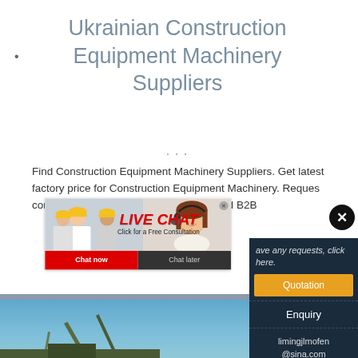•
Ukrainian Construction Equipment Machinery Suppliers
...
Find Construction Equipment Machinery Suppliers. Get latest factory price for Construction Equipment Machinery. Reques connect with Ukrainian manufacturers and B2B...
[Figure (photo): Live chat popup with workers wearing yellow hard hats on left, customer service representative with headset on right. Red 'LIVE CHAT' text with 'Click for a Free Consultation' below. Chat now (red button) and Chat later (dark button) at bottom.]
Chat now
Chat later
[Figure (photo): Construction machinery (crane/conveyor) against blue sky background photo]
ave any requests, click here.
Quotation
Enquiry
limingjlmofen@sina.com